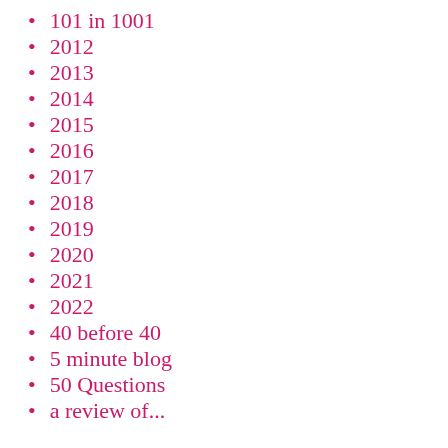101 in 1001
2012
2013
2014
2015
2016
2017
2018
2019
2020
2021
2022
40 before 40
5 minute blog
50 Questions
a review of...